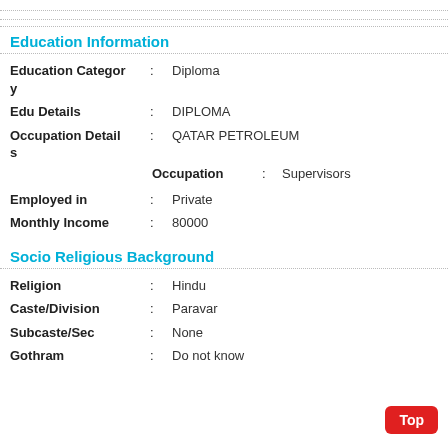Education Information
Education Category : Diploma
Edu Details : DIPLOMA
Occupation Details : QATAR PETROLEUM
Occupation : Supervisors
Employed in : Private
Monthly Income : 80000
Socio Religious Background
Religion : Hindu
Caste/Division : Paravar
Subcaste/Sec : None
Gothram : Do not know